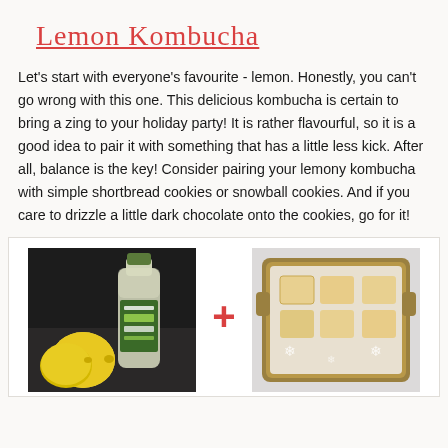Lemon Kombucha
Let's start with everyone's favourite - lemon. Honestly, you can't go wrong with this one. This delicious kombucha is certain to bring a zing to your holiday party! It is rather flavourful, so it is a good idea to pair it with something that has a little less kick. After all, balance is the key! Consider pairing your lemony kombucha with simple shortbread cookies or snowball cookies. And if you care to drizzle a little dark chocolate onto the cookies, go for it!
[Figure (photo): Two photos side by side separated by a red plus sign. Left photo: a bottle of Harrow Gate Lemon Booch kombucha next to two lemons on a dark surface. Right photo: shortbread cookies arranged on a gold/bronze ornate tray with snowflake decorations.]